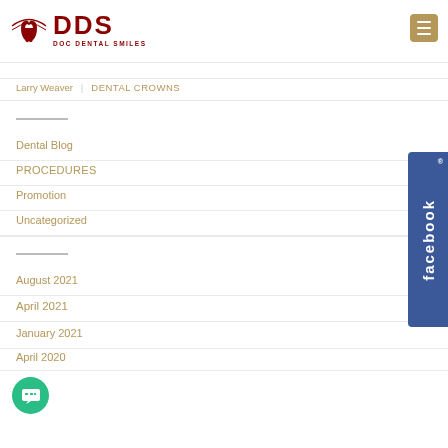[Figure (logo): DDS Doc Dental Smiles logo with tooth icon in dark red/maroon]
Larry Weaver   DENTAL CROWNS
Dental Blog
PROCEDURES
Promotion
Uncategorized
August 2021
April 2021
January 2021
April 2020
[Figure (logo): Facebook vertical sidebar button in blue with 'facebook' text rotated]
[Figure (illustration): Green circular chat/message button in bottom left]